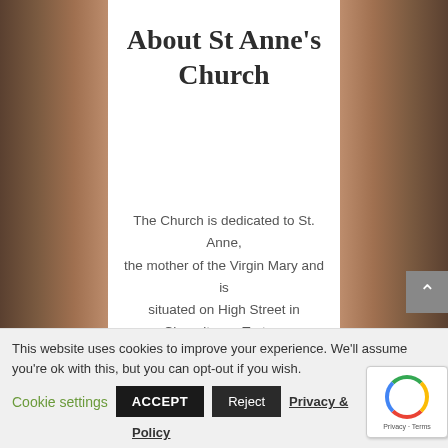About St Anne’s Church
The Church is dedicated to St. Anne, the mother of the Virgin Mary and is situated on High Street in Chapeltown, Turton.
Those who worship here regularly are
This website uses cookies to improve your experience. We’ll assume you’re ok with this, but you can opt-out if you wish.
Cookie settings  ACCEPT  Reject  Privacy & Policy